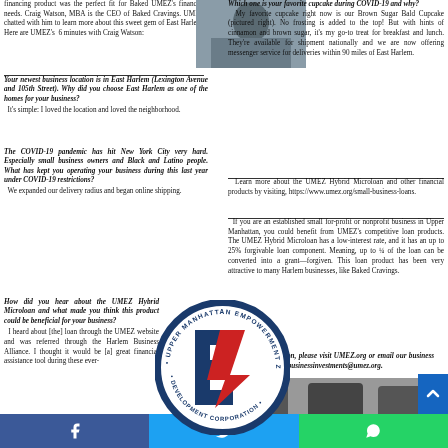financing product was the perfect fit for Baked UMEZ's financial needs. Craig Watson, MBA is the CEO of Baked Cravings. UMEZ chatted with him to learn more about this sweet gem of East Harlem. Here are UMEZ's 6 minutes with Craig Watson:
[Figure (photo): Photo of Craig Watson in a grey hoodie]
Which one is your favorite cupcake during COVID-19 and why? My favorite cupcake right now is our Brown Sugar Bald Cupcake (pictured right). No frosting is added to the top! But with hints of cinnamon and brown sugar, it's my go-to treat for breakfast and lunch. They're available for shipment nationally and we are now offering messenger service for deliveries within 90 miles of East Harlem.
Learn more about the UMEZ Hybrid Microloan and other financial products by visiting, https://www.umez.org/small-business-loans.
Your newest business location is in East Harlem (Lexington Avenue and 105th Street). Why did you choose East Harlem as one of the homes for your business? It's simple: I loved the location and loved the neighborhood.
The COVID-19 pandemic has hit New York City very hard. Especially small business owners and Black and Latino people. What has kept you operating your business during this last year under COVID-19 restrictions? We expanded our delivery radius and began online shipping.
If you are an established small for-profit or nonprofit business in Upper Manhattan, you could benefit from UMEZ's competitive loan products. The UMEZ Hybrid Microloan has a low-interest rate, and it has an up to 25% forgivable loan component. Meaning, up to ¼ of the loan can be converted into a grant—forgiven. This loan product has been very attractive to many Harlem businesses, like Baked Cravings.
[Figure (logo): Upper Manhattan Empowerment Zone Development Corporation circular logo with lightning bolt]
How did you hear about the UMEZ Hybrid Microloan and what made you think this product could be beneficial for your business? I heard about [the] loan through the UMEZ website and was referred through the Harlem Business Alliance. I thought it would be [a] great financial assistance tool during these ever-
For more information, please visit UMEZ.org or email our business investment team at: businessinvestments@umez.org.
[Figure (photo): Photo of Baked Cravings products in jars]